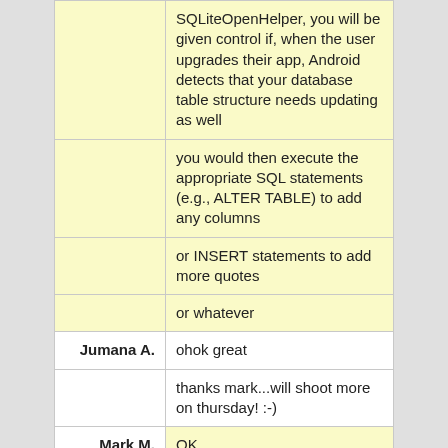|  | SQLiteOpenHelper, you will be given control if, when the user upgrades their app, Android detects that your database table structure needs updating as well |
|  | you would then execute the appropriate SQL statements (e.g., ALTER TABLE) to add any columns |
|  | or INSERT statements to add more quotes |
|  | or whatever |
| Jumana A. | ohok great |
|  | thanks mark...will shoot more on thursday! :-) |
| Mark M. | OK |
|  | 11:00 AM |
| Mark M. | and that's a wrap for today's chat |